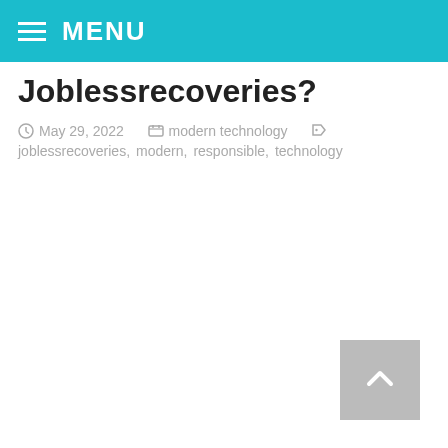MENU
Joblessrecoveries?
May 29, 2022   modern technology   joblessrecoveries, modern, responsible, technology